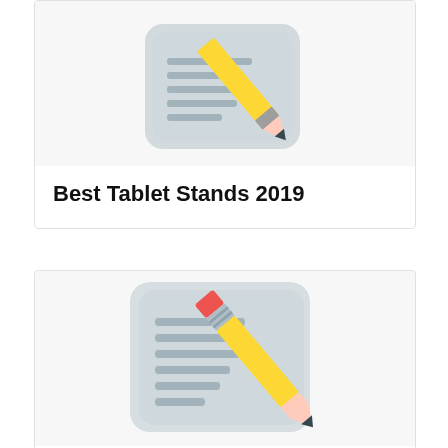[Figure (illustration): Icon showing a pencil writing on a notepad with horizontal lines, yellow pencil with dark tip, light blue-grey document background]
Best Tablet Stands 2019
[Figure (illustration): Icon showing a pencil writing on a notepad with horizontal lines, yellow pencil with red eraser top, grey ferrule, dark tip, light blue-grey document background]
Best Foldable